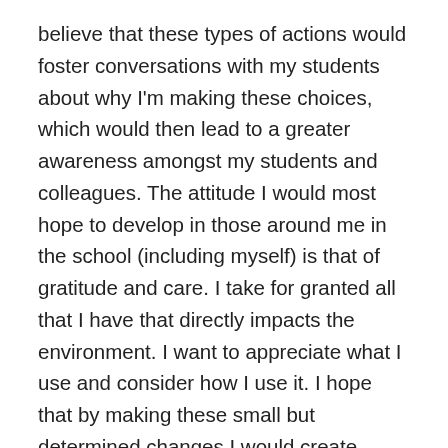believe that these types of actions would foster conversations with my students about why I'm making these choices, which would then lead to a greater awareness amongst my students and colleagues. The attitude I would most hope to develop in those around me in the school (including myself) is that of gratitude and care. I take for granted all that I have that directly impacts the environment. I want to appreciate what I use and consider how I use it. I hope that by making these small but determined changes I would create pause in the young people whom I have been tasked to influence.
Implementing this resource supports the pillars of community building and skill building. We all share one environment. Therefore, whether we like it or not, we are one community on earth. Becoming responsible members